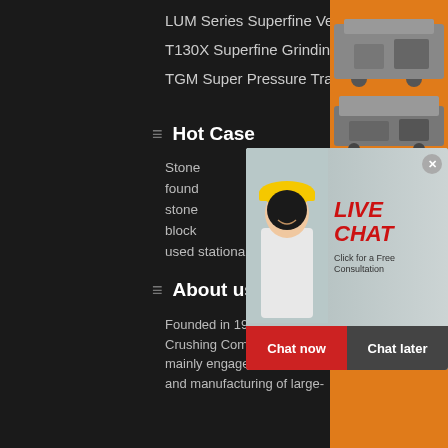LUM Series Superfine Vertical R
T130X Superfine Grinding Mill
TGM Super Pressure Trapezium Mi
Hot Case
Stone
found
stone
block
used stationary small rock crusher
[Figure (screenshot): Live Chat overlay with workers in hard hats, red LIVE CHAT text, Click for a Free Consultation subtitle, Chat now and Chat later buttons]
[Figure (photo): Orange sidebar with mining/crushing machinery images, Enjoy 3% discount, Click to Chat, Enquiry, limingjlmofen@sina.com]
About us
Founded in 1987, Liming Crushing Compa mainly engaged in the R&D and manufacturing of large-